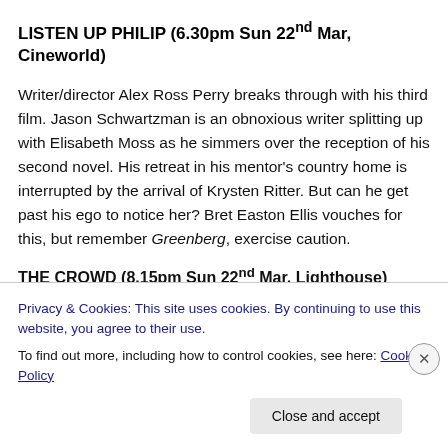LISTEN UP PHILIP (6.30pm Sun 22nd Mar, Cineworld)
Writer/director Alex Ross Perry breaks through with his third film. Jason Schwartzman is an obnoxious writer splitting up with Elisabeth Moss as he simmers over the reception of his second novel. His retreat in his mentor's country home is interrupted by the arrival of Krysten Ritter. But can he get past his ego to notice her? Bret Easton Ellis vouches for this, but remember Greenberg, exercise caution.
THE CROWD (8.15pm Sun 22nd Mar, Lighthouse)
Privacy & Cookies: This site uses cookies. By continuing to use this website, you agree to their use.
To find out more, including how to control cookies, see here: Cookie Policy